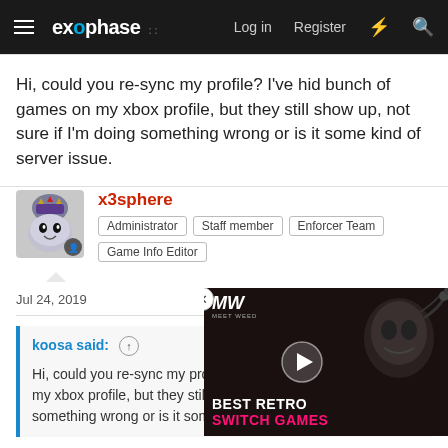exophase — Log in  Register
Hi, could you re-sync my profile? I've hid bunch of games on my xbox profile, but they still show up, not sure if I'm doing something wrong or is it some kind of server issue.
x3sphere
Administrator  Staff member  Enforcer Team  Game Info Editor
Jul 24, 2019
koosa said: ↑
Hi, could you re-sync my profile? I've hid bunch of games on my xbox profile, but they still show up, not sure if I'm doing something wrong or is it some kind of server issue.
[Figure (other): MW video ad overlay showing 'BEST RETRO SWITCH GAMES' with play button and masked character graphic]